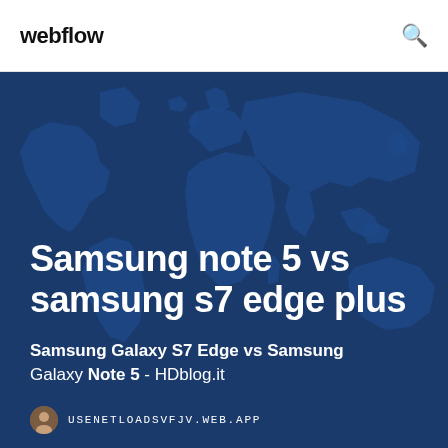webflow
[Figure (illustration): World map silhouette illustration on dark blue background used as hero section background]
Samsung note 5 vs samsung s7 edge plus
Samsung Galaxy S7 Edge vs Samsung Galaxy Note 5 - HDblog.it
USENETLOADSVFJV.WEB.APP